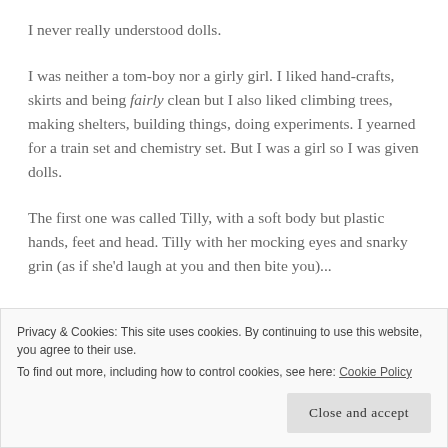I never really understood dolls.
I was neither a tom-boy nor a girly girl. I liked hand-crafts, skirts and being fairly clean but I also liked climbing trees, making shelters, building things, doing experiments. I yearned for a train set and chemistry set. But I was a girl so I was given dolls.
The first one was called Tilly, with a soft body but plastic hands, feet and head. Tilly with her mocking eyes and snarky grin (as if she'd laugh at you and then bite you)...
Privacy & Cookies: This site uses cookies. By continuing to use this website, you agree to their use.
To find out more, including how to control cookies, see here: Cookie Policy
[Close and accept]